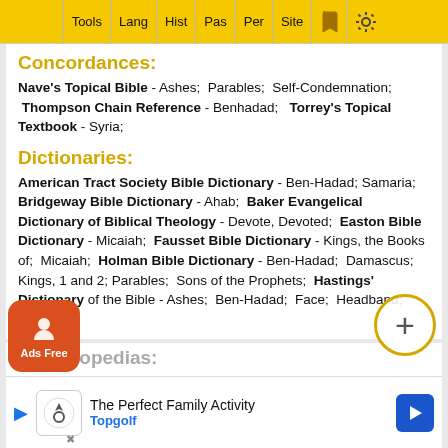Tools | Lang | Hist | Pas | Per | Site
Concordances:
Nave's Topical Bible - Ashes; Parables; Self-Condemnation; Thompson Chain Reference - Benhadad; Torrey's Topical Textbook - Syria;
Dictionaries:
American Tract Society Bible Dictionary - Ben-Hadad; Samaria; Bridgeway Bible Dictionary - Ahab; Baker Evangelical Dictionary of Biblical Theology - Devote, Devoted; Easton Bible Dictionary - Micaiah; Fausset Bible Dictionary - Kings, the Books of; Micaiah; Holman Bible Dictionary - Ben-Hadad; Damascus; Kings, 1 and 2; Parables; Sons of the Prophets; Hastings' Dictionary of the Bible - Ashes; Ben-Hadad; Face; Headband; Marks;
Encyclopedias:
The Je...